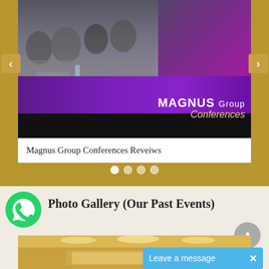[Figure (photo): Conference/event photo showing audience members at tables with laptops, with Magnus Group Conferences branding overlay in purple and gold]
Magnus Group Conferences Reveiws
[Figure (infographic): Navigation dots row: 4 dots for slideshow, first dot active (filled white), others outlined]
[Figure (logo): WhatsApp green circle logo icon]
Photo Gallery (Our Past Events)
[Figure (photo): Conference venue interior photo showing ceiling lights and presentation screen]
Leave a message  ×